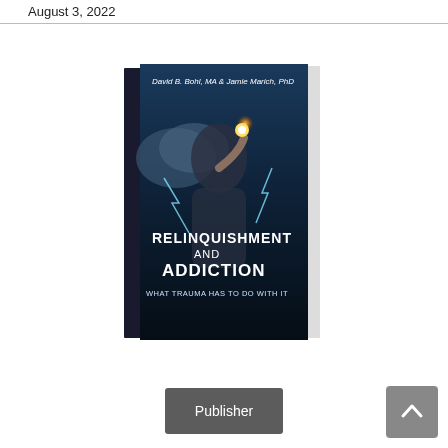August 3, 2022
[Figure (photo): Book cover of 'Relinquishment and Addiction: What Trauma Has to Do with It' by David B. Bohl, MA & Jamie Marich, PhD. The cover shows a dramatic image of a person with glowing light at their head surrounded by stormy clouds and lightning on a dark background.]
Publisher